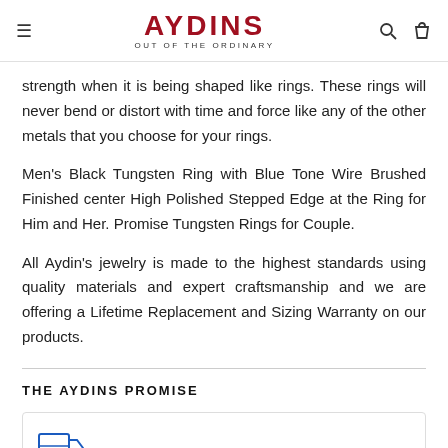AYDINS OUT OF THE ORDINARY
strength when it is being shaped like rings. These rings will never bend or distort with time and force like any of the other metals that you choose for your rings.
Men's Black Tungsten Ring with Blue Tone Wire Brushed Finished center High Polished Stepped Edge at the Ring for Him and Her. Promise Tungsten Rings for Couple.
All Aydin's jewelry is made to the highest standards using quality materials and expert craftsmanship and we are offering a Lifetime Replacement and Sizing Warranty on our products.
THE AYDINS PROMISE
[Figure (illustration): Blue arrow/shipping icon inside a bordered box, partially visible at bottom of page]